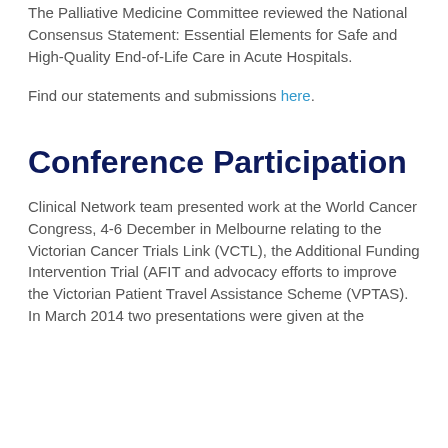The Palliative Medicine Committee reviewed the National Consensus Statement: Essential Elements for Safe and High-Quality End-of-Life Care in Acute Hospitals.
Find our statements and submissions here.
Conference Participation
Clinical Network team presented work at the World Cancer Congress, 4-6 December in Melbourne relating to the Victorian Cancer Trials Link (VCTL), the Additional Funding Intervention Trial (AFIT and advocacy efforts to improve the Victorian Patient Travel Assistance Scheme (VPTAS). In March 2014 two presentations were given at the